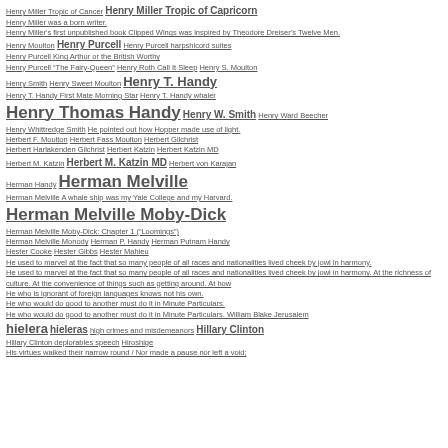Henry Miller Tropic of Cancer  Henry Miller Tropic of Capricorn
Henry Miller was a born writer.
Henry Miller's first unpublished book Clipped Wings was inspired by Theodore Dreiser's Twelve Men.
Henry Moulton  Henry Purcell  Henry Purcell harpshicord suites
Henry Purcell King Arthur or the British Worthy
Henry Purcell "The Fairy-Queen"  Henry Roth Call It Sleep  Henry S. Moulton
Henry Smith  Henry Sweet Moulton  Henry T. Handy
Henry T. Handy First Mate Morning Star  Henry T. Handy whaler
Henry Thomas Handy  Henry W. Smith  Henry Ward Beecher
Henry Whittredge Smith  He pointed out how Hopper made use of light.
Herbert F. Moulton  Herbert Fass Moulton  Herbert Gilchrist
Herbert Harlakenden Gilchrist  Herbert Katzin  Herbert Katzin MD
Herbert M. Katzin  Herbert M. Katzin MD  Herbert von Karajan
Herman Handy  Herman Melville
Herman Melville A whale ship was my Yale College and my Harvard.
Herman Melville Moby-Dick
Herman Melville Moby-Dick: Chapter 1 ("Loomings")
Herman Melville Monody  Herman P. Handy  Herman Putnam Handy
Hester Cooke  Hester Gibbs  Hester Mahieu
He used to marvel at the fact that so many people of all races and nationalities lived cheek by jowl in harmony.
He used to marvel at the fact that so many people of all races and nationalities lived cheek by jowl in harmony. At the richness of culture. At the convenience of things such as getting around. At how
He who is ignorant of foreign languages knows not his own.
He who would do good to another must do it in Minute Particulars.
He who would do good to another must do it in Minute Particulars. William Blake Jerusalem
hielera  hieleras  high crimes and misdemeanors  Hillary Clinton
Hillary Clinton deplorables speech  Hiroshige
His virtues walked their narrow round / Nor made a pause nor left a void;